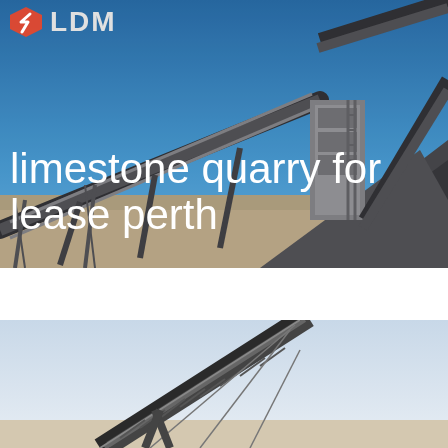[Figure (photo): Aerial view of a limestone quarry with conveyor belts, processing equipment, gravel piles, and industrial structures under a blue sky]
limestone quarry for lease  perth
[Figure (photo): Close-up view of a large industrial conveyor belt structure at a quarry under a light sky]